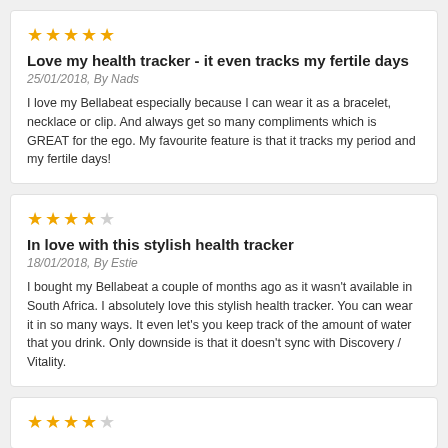★★★★★
Love my health tracker - it even tracks my fertile days
25/01/2018, By Nads
I love my Bellabeat especially because I can wear it as a bracelet, necklace or clip. And always get so many compliments which is GREAT for the ego. My favourite feature is that it tracks my period and my fertile days!
★★★★☆
In love with this stylish health tracker
18/01/2018, By Estie
I bought my Bellabeat a couple of months ago as it wasn't available in South Africa. I absolutely love this stylish health tracker. You can wear it in so many ways. It even let's you keep track of the amount of water that you drink. Only downside is that it doesn't sync with Discovery / Vitality.
★★★★☆